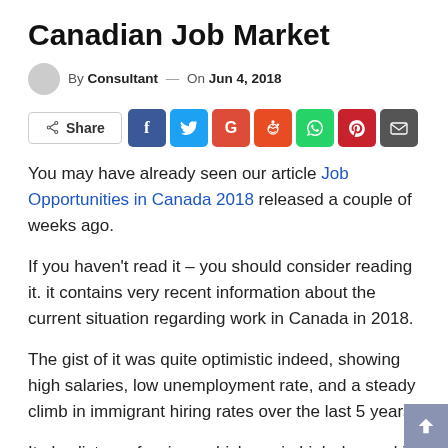Canadian Job Market
By Consultant — On Jun 4, 2018
[Figure (other): Social share buttons: Share, Facebook, Twitter, Google+, Reddit, WhatsApp, Pinterest, Email]
You may have already seen our article Job Opportunities in Canada 2018 released a couple of weeks ago.
If you haven't read it – you should consider reading it.  it contains very recent information about the current situation regarding work in Canada in 2018.
The gist of it was quite optimistic indeed, showing high salaries, low unemployment rate, and a steady climb in immigrant hiring rates over the last 5 years.
It also lists professions which are in high demand in Canada.